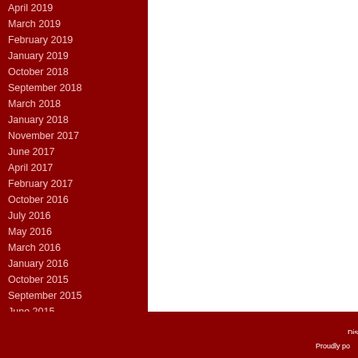April 2019
March 2019
February 2019
January 2019
October 2018
September 2018
March 2018
January 2018
November 2017
June 2017
April 2017
February 2017
October 2016
July 2016
May 2016
March 2016
January 2016
October 2015
September 2015
June 2015
December 2014
Dis... To contact Travel & Reimbursement Services Click Here | To contact Travel & R... Proudly po...